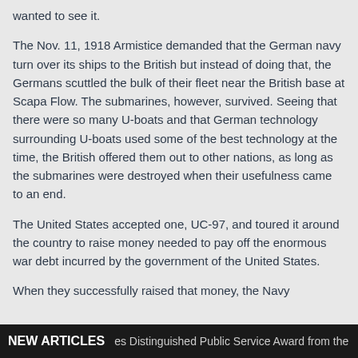wanted to see it.
The Nov. 11, 1918 Armistice demanded that the German navy turn over its ships to the British but instead of doing that, the Germans scuttled the bulk of their fleet near the British base at Scapa Flow. The submarines, however, survived. Seeing that there were so many U-boats and that German technology surrounding U-boats used some of the best technology at the time, the British offered them out to other nations, as long as the submarines were destroyed when their usefulness came to an end.
The United States accepted one, UC-97, and toured it around the country to raise money needed to pay off the enormous war debt incurred by the government of the United States.
When they successfully raised that money, the Navy
NEW ARTICLES   es Distinguished Public Service Award from the